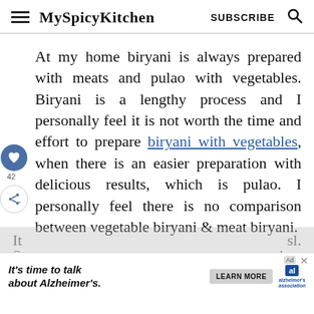MySpicyKitchen  SUBSCRIBE
At my home biryani is always prepared with meats and pulao with vegetables. Biryani is a lengthy process and I personally feel it is not worth the time and effort to prepare biryani with vegetables, when there is an easier preparation with delicious results, which is pulao. I personally feel there is no comparison between vegetable biryani & meat biryani.
[Figure (infographic): Advertisement banner: It's time to talk about Alzheimer's. LEARN MORE. Alzheimer's Association logo.]